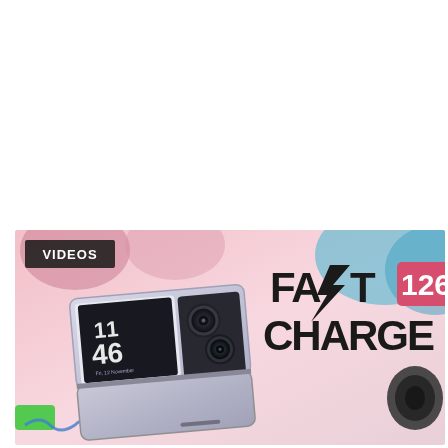[Figure (photo): A video thumbnail showing a foldable smartphone (showing time 11:46 on its cover screen) lying on a pastel pink surface with colorful accessories. Overlay text reads 'FAST CHARGE 126' with a lightning bolt replacing the letter 'S'. A dark 'VIDEOS' badge appears in the top-left corner. The number 126 is in a pink/rose rectangle badge.]